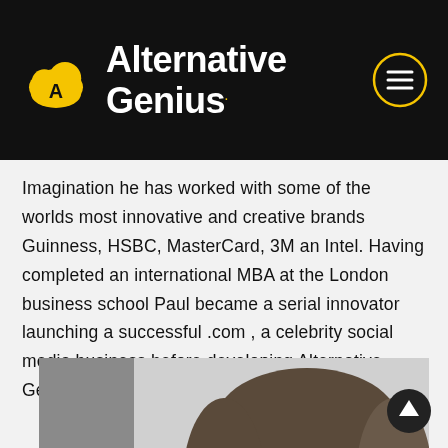Alternative Genius
Imagination he has worked with some of the worlds most innovative and creative brands Guinness, HSBC, MasterCard, 3M an Intel. Having completed an international MBA at the London business school Paul became a serial innovator launching a successful .com , a celebrity social media business before developing Alternative Genius.
[Figure (photo): Black and white portrait photo of a woman with long hair, photographed from the shoulders up, looking slightly downward.]